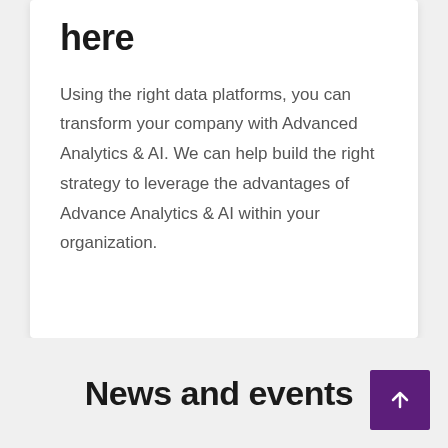here
Using the right data platforms, you can transform your company with Advanced Analytics & AI. We can help build the right strategy to leverage the advantages of Advance Analytics & AI within your organization.
News and events